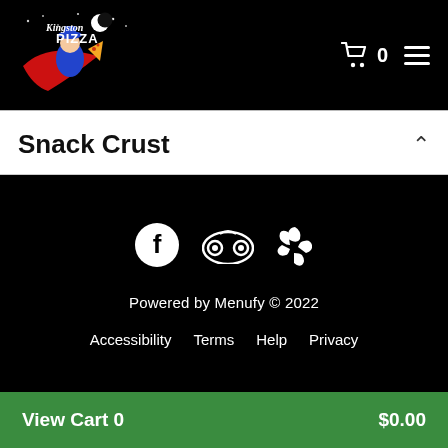Kingston Pizza — header with logo, cart (0), and hamburger menu
Snack Crust
[Figure (screenshot): Black footer area with Facebook, TripAdvisor, and Yelp social media icons, 'Powered by Menufy © 2022' text, and footer links: Accessibility, Terms, Help, Privacy]
View Cart 0   $0.00